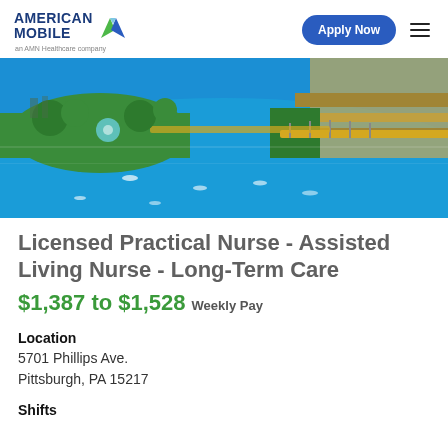[Figure (logo): American Mobile logo with stylized M icon and 'an AMN Healthcare company' tagline]
[Figure (photo): Aerial view of Pittsburgh rivers with bridges, green parks, and boats on bright blue water]
Licensed Practical Nurse - Assisted Living Nurse - Long-Term Care
$1,387 to $1,528 Weekly Pay
Location
5701 Phillips Ave.
Pittsburgh, PA 15217
Shifts